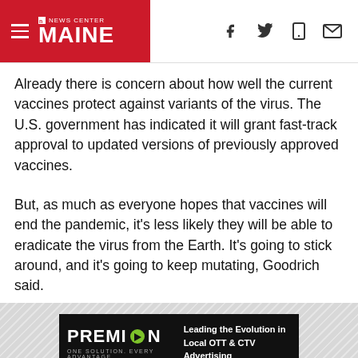News Center Maine
Already there is concern about how well the current vaccines protect against variants of the virus. The U.S. government has indicated it will grant fast-track approval to updated versions of previously approved vaccines.
But, as much as everyone hopes that vaccines will end the pandemic, it’s less likely they will be able to eradicate the virus from the Earth. It’s going to stick around, and it’s going to keep mutating, Goodrich said.
[Figure (other): PREMION advertisement banner: Leading the Evolution in Local OTT & CTV Advertising. ONE SOLUTION. EVERY ADVANTAGE.]
“We want to have tools, and we want to have methods at hand for us to be able to respond if and when those kinda